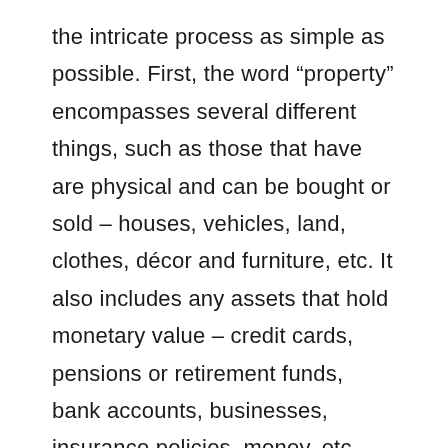the intricate process as simple as possible. First, the word “property” encompasses several different things, such as those that have are physical and can be bought or sold – houses, vehicles, land, clothes, décor and furniture, etc. It also includes any assets that hold monetary value – credit cards, pensions or retirement funds, bank accounts, businesses, insurance policies, money, etc. Any property that you can prove you attained before you got married is yours alone. However, since California is a community property state, all goods that you attained during the marriage is labeled as “community” possessions, or